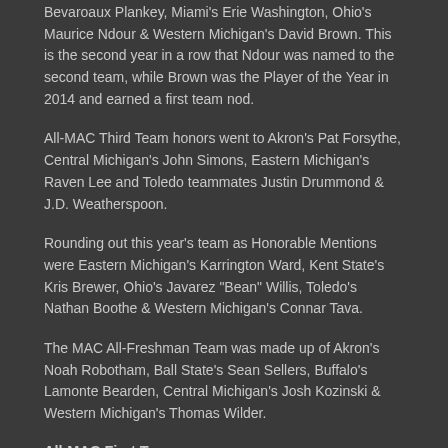Bevaroaux Plankey, Miami's Erie Washington, Ohio's Maurice Ndour & Western Michigan's David Brown. This is the second year in a row that Ndour was named to the second team, while Brown was the Player of the Year in 2014 and earned a first team nod.
All-MAC Third Team honors went to Akron's Pat Forsythe, Central Michigan's John Simons, Eastern Michigan's Raven Lee and Toledo teammates Justin Drummond & J.D. Weatherspoon.
Rounding out this year's team as Honorable Mentions were Eastern Michigan's Karrington Ward, Kent State's Kris Brewer, Ohio's Javarez "Bean" Willis, Toledo's Nathan Boothe & Western Michigan's Connar Tava.
The MAC All-Freshman Team was made up of Akron's Noah Robotham, Ball State's Sean Sellers, Buffalo's Lamonte Bearden, Central Michigan's Josh Kozinski & Western Michigan's Thomas Wilder.
All-MAC First Team
Richaun Holmes, Bowling Green F
Justin Moss, Buffalo, F